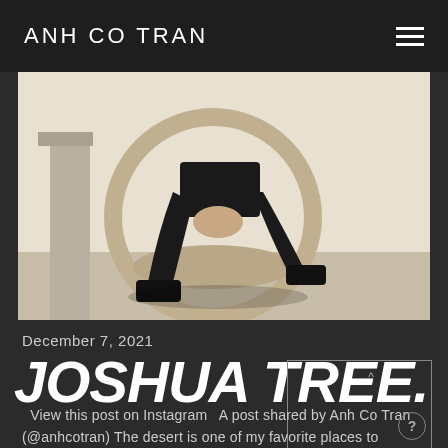ANH CO TRAN
[Figure (photo): Fashion photo of a person wearing black leather pants seated in a round white sculptural chair outdoors in a desert/minimalist setting.]
December 7, 2021
JOSHUA TREE.
View this post on Instagram   A post shared by Anh Co Tran (@anhcotran) The desert is one of my favorite places to escape for the weekend. The